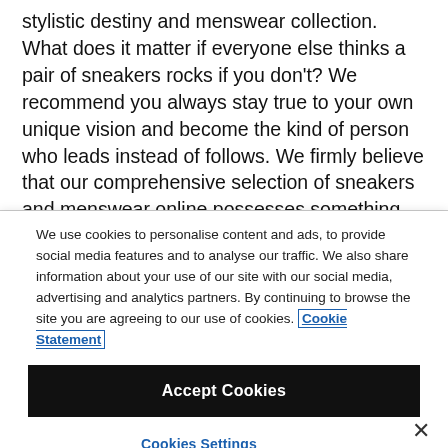stylistic destiny and menswear collection. What does it matter if everyone else thinks a pair of sneakers rocks if you don't? We recommend you always stay true to your own unique vision and become the kind of person who leads instead of follows. We firmly believe that our comprehensive selection of sneakers and menswear online possesses something that will speak to your own
We use cookies to personalise content and ads, to provide social media features and to analyse our traffic. We also share information about your use of our site with our social media, advertising and analytics partners. By continuing to browse the site you are agreeing to our use of cookies. Cookie Statement
Accept Cookies
Cookies Settings